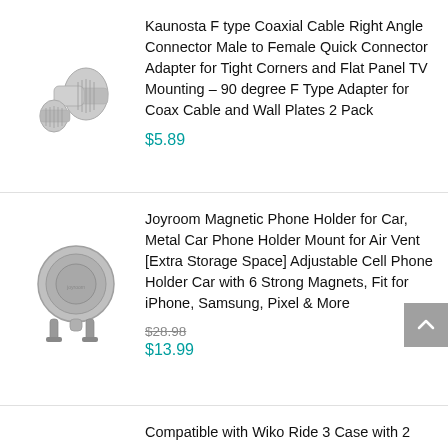[Figure (photo): Silver F-type coaxial cable right angle connectors, 2 pack, on white background]
Kaunosta F type Coaxial Cable Right Angle Connector Male to Female Quick Connector Adapter for Tight Corners and Flat Panel TV Mounting – 90 degree F Type Adapter for Coax Cable and Wall Plates 2 Pack
$5.89
[Figure (photo): Silver and grey Joyroom magnetic phone holder car mount on white background]
Joyroom Magnetic Phone Holder for Car, Metal Car Phone Holder Mount for Air Vent [Extra Storage Space] Adjustable Cell Phone Holder Car with 6 Strong Magnets, Fit for iPhone, Samsung, Pixel & More
$28.98
$13.99
Compatible with Wiko Ride 3 Case with 2